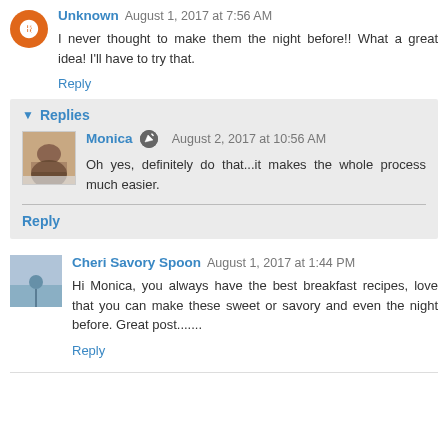Unknown August 1, 2017 at 7:56 AM
I never thought to make them the night before!! What a great idea! I'll have to try that.
Reply
Replies
Monica August 2, 2017 at 10:56 AM
Oh yes, definitely do that...it makes the whole process much easier.
Reply
Cheri Savory Spoon August 1, 2017 at 1:44 PM
Hi Monica, you always have the best breakfast recipes, love that you can make these sweet or savory and even the night before. Great post.......
Reply